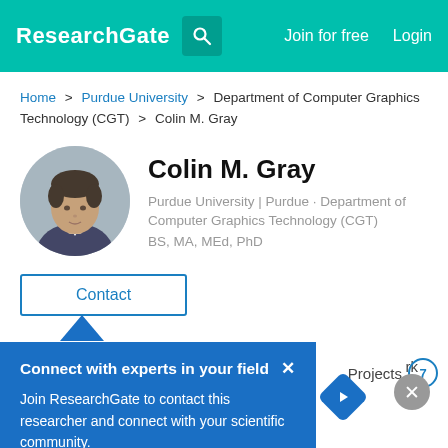ResearchGate | Join for free | Login
Home > Purdue University > Department of Computer Graphics Technology (CGT) > Colin M. Gray
[Figure (photo): Circular profile photo of Colin M. Gray, a man with dark hair]
Colin M. Gray
Purdue University | Purdue · Department of Computer Graphics Technology (CGT)
BS, MA, MEd, PhD
Contact
Connect with experts in your field
Join ResearchGate to contact this researcher and connect with your scientific community.
Projects 7